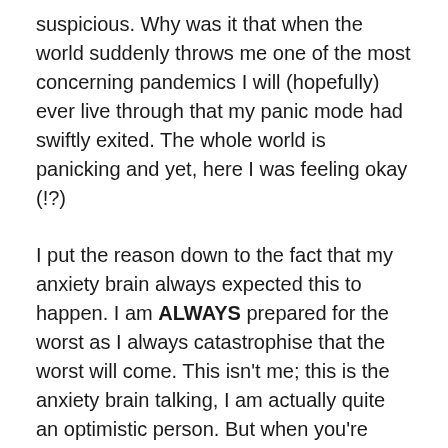suspicious. Why was it that when the world suddenly throws me one of the most concerning pandemics I will (hopefully) ever live through that my panic mode had swiftly exited. The whole world is panicking and yet, here I was feeling okay (!?)
I put the reason down to the fact that my anxiety brain always expected this to happen. I am ALWAYS prepared for the worst as I always catastrophise that the worst will come. This isn't me; this is the anxiety brain talking, I am actually quite an optimistic person. But when you're used to leaving the house and already planning an emergency route in case there's a terror attack, or taking a pharmacy bag around with you in case